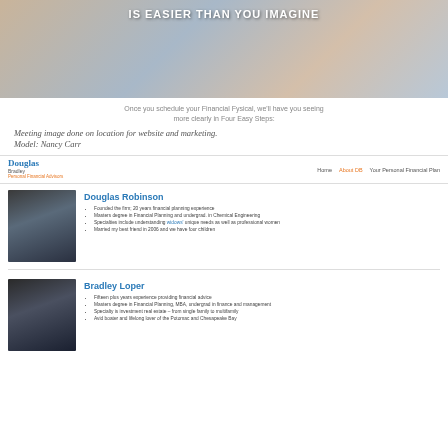[Figure (photo): Hero photo of people having a financial meeting, with text overlay 'IS EASIER THAN YOU IMAGINE']
Once you schedule your Financial Fysical, we'll have you seeing more clearly in Four Easy Steps:
Meeting image done on location for website and marketing. Model: Nancy Carr
[Figure (screenshot): Website navigation bar with DouglasBradley Personal Financial Advisors logo, and nav links: Home, About DB, Your Personal Financial Plan]
Douglas Robinson
[Figure (photo): Headshot photo of Douglas Robinson]
Founded the firm; 20 years financial planning experience
Masters degree in Financial Planning and undergrad. in Chemical Engineering
Specialties include understanding widows' unique needs as well as professional women
Married my best friend in 2006 and we have four children
Bradley Loper
[Figure (photo): Headshot photo of Bradley Loper]
Fifteen plus years experience providing financial advice
Masters degree in Financial Planning, MBA, undergrad in finance and management
Specialty is investment real estate – from single family to multifamily
Avid boater and lifelong lover of the Potomac and Chesapeake Bay